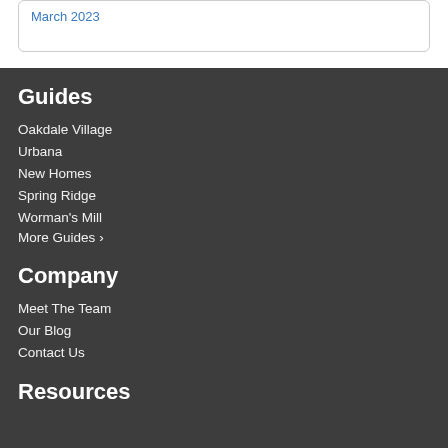March 2023
Guides
Oakdale Village
Urbana
New Homes
Spring Ridge
Worman's Mill
More Guides >
Company
Meet The Team
Our Blog
Contact Us
Resources